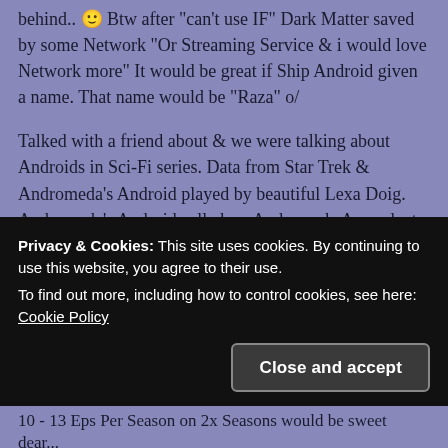behind.. 🙂 Btw after "can't use IF" Dark Matter saved by some Network "Or Streaming Service & i would love Network more" It would be great if Ship Android given a name. That name would be "Raza" o/
Talked with a friend about & we were talking about Androids in Sci-Fi series. Data from Star Trek & Andromeda's Android played by beautiful Lexa Doig. Andromeda's Android called as: Andromeda Ascendant. Talented & beautiful Zoie's Android would be good with Raza name cause linked with ship. Not same way as Ascendant, but still is 🙂
Privacy & Cookies: This site uses cookies. By continuing to use this website, you agree to their use.
To find out more, including how to control cookies, see here: Cookie Policy
Close and accept
10 - 13 Eps Per Season on 2x Seasons would be sweet dear...